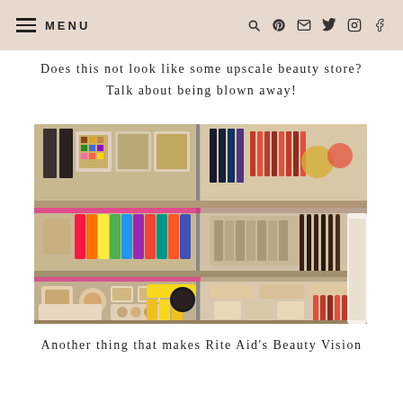≡ MENU   [search] [pinterest] [email] [twitter] [instagram] [facebook]
Does this not look like some upscale beauty store? Talk about being blown away!
[Figure (photo): Photo of a beauty store display with multiple shelves of makeup products including eyeshadow palettes, nail polishes, lipsticks, brushes, compacts, and other cosmetics arranged neatly on shelving units.]
Another thing that makes Rite Aid's Beauty Vision